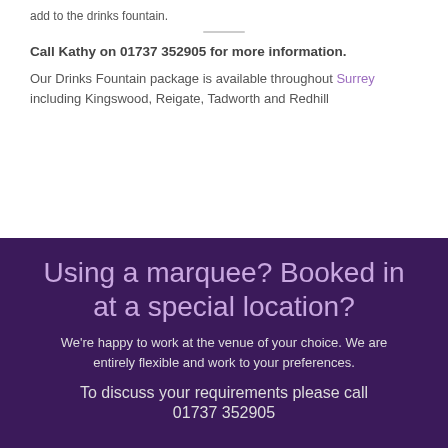add to the drinks fountain.
Call Kathy on 01737 352905 for more information.
Our Drinks Fountain package is available throughout Surrey including Kingswood, Reigate, Tadworth and Redhill
Using a marquee? Booked in at a special location?
We're happy to work at the venue of your choice. We are entirely flexible and work to your preferences.
To discuss your requirements please call 01737 352905